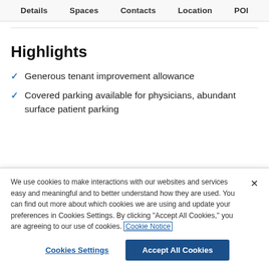Details   Spaces   Contacts   Location   POI
Highlights
Generous tenant improvement allowance
Covered parking available for physicians, abundant surface patient parking
We use cookies to make interactions with our websites and services easy and meaningful and to better understand how they are used. You can find out more about which cookies we are using and update your preferences in Cookies Settings. By clicking "Accept All Cookies," you are agreeing to our use of cookies. Cookie Notice
Cookies Settings   Accept All Cookies